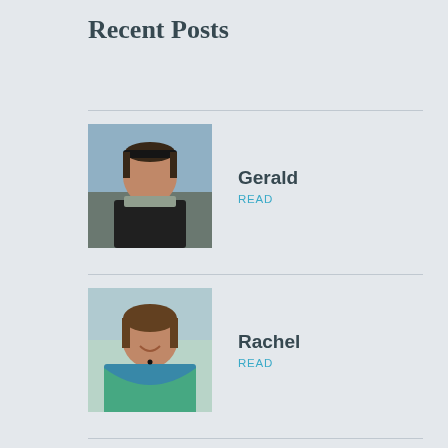Recent Posts
Gerald
READ
Rachel
READ
Jeanna (Update!)
READ